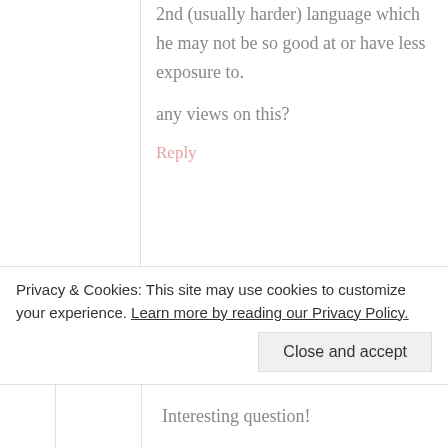2nd (usually harder) language which he may not be so good at or have less exposure to.
any views on this?
Reply
[Figure (photo): Profile photo of a woman with long brown hair, smiling, wearing a light-colored top. Displayed in a comment block next to the username NOTJUST CUTE says 8, and date November 8,]
NOTJUST CUTE says 8
November 8,
Privacy & Cookies: This site may use cookies to customize your experience. Learn more by reading our Privacy Policy.
Close and accept
Interesting question!